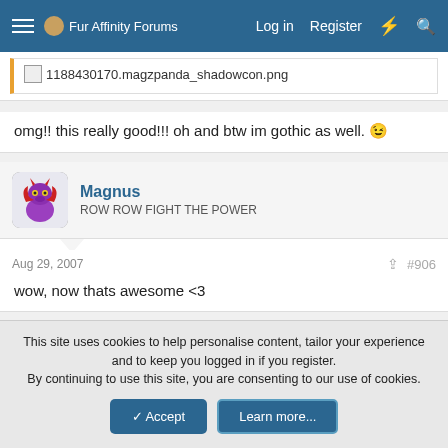Fur Affinity Forums  Log in  Register
[Figure (screenshot): Quoted image placeholder showing filename: 1188430170.magzpanda_shadowcon.png]
omg!! this really good!!! oh and btw im gothic as well. 😉
Magnus
ROW ROW FIGHT THE POWER
Aug 29, 2007  #906
wow, now thats awesome <3
Shadowcon
This site uses cookies to help personalise content, tailor your experience and to keep you logged in if you register.
By continuing to use this site, you are consenting to our use of cookies.